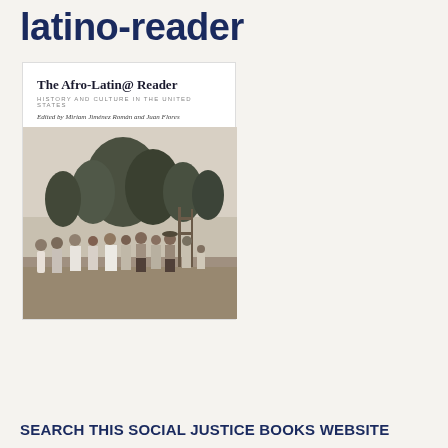latino-reader
[Figure (photo): Book cover of 'The Afro-Latin@ Reader: History and Culture in the United States', edited by Miriam Jiménez Román and Juan Flores. The cover features a black-and-white historical photograph of a group of people standing outdoors near trees.]
SEARCH THIS SOCIAL JUSTICE BOOKS WEBSITE